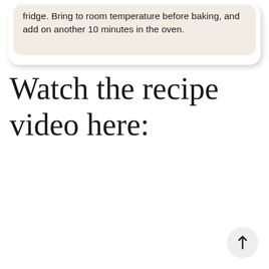fridge. Bring to room temperature before baking, and add on another 10 minutes in the oven.
Watch the recipe video here: